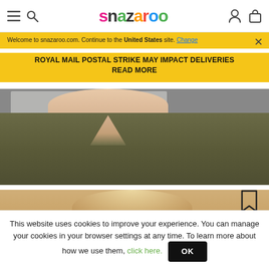snazaroo
Welcome to snazaroo.com. Continue to the United States site. Change
ROYAL MAIL POSTAL STRIKE MAY IMPACT DELIVERIES READ MORE
[Figure (photo): Photo of person wearing olive/dark green t-shirt, face partially visible at top]
[Figure (photo): Photo of child with blonde hair and face paint, partially visible]
This website uses cookies to improve your experience. You can manage your cookies in your browser settings at any time. To learn more about how we use them, click here. OK